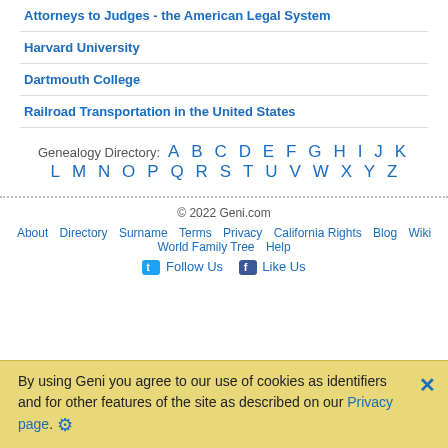Attorneys to Judges - the American Legal System
Harvard University
Dartmouth College
Railroad Transportation in the United States
Genealogy Directory: A B C D E F G H I J K L M N O P Q R S T U V W X Y Z
© 2022 Geni.com About Directory Surname Terms Privacy California Rights Blog Wiki World Family Tree Help Follow Us Like Us
By using Geni you agree to our use of cookies as identifiers and for other features of the site as described on our Privacy page.